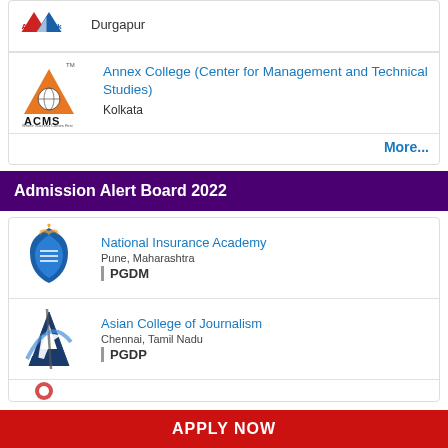Durgapur
[Figure (logo): AMIK logo - red/blue triangular shape]
Annex College (Center for Management and Technical Studies)
Kolkata
[Figure (logo): ACMS logo - orange triangle with globe symbol]
More...
Admission Alert Board 2022
[Figure (logo): National Insurance Academy logo - blue book/flame design]
National Insurance Academy
Pune, Maharashtra
PGDM
[Figure (logo): Asian College of Journalism logo - dark blue A with white curve]
Asian College of Journalism
Chennai, Tamil Nadu
PGDP
APPLY NOW